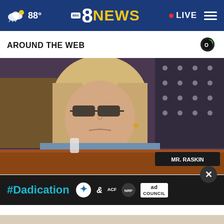abc 8NEWS  88°  • LIVE
AROUND THE WEB
[Figure (photo): Woman with blonde hair and dark-rimmed glasses seated at a congressional hearing desk, looking serious. A nameplate reading 'MR. RASKIN' is visible in the background along with an American flag.]
Cheney slams GOP leadership for enabling white nati...
[Figure (infographic): #Dadication ad banner with HHS, ACF, National Responsible Fatherhood Clearinghouse, and Ad Council logos]